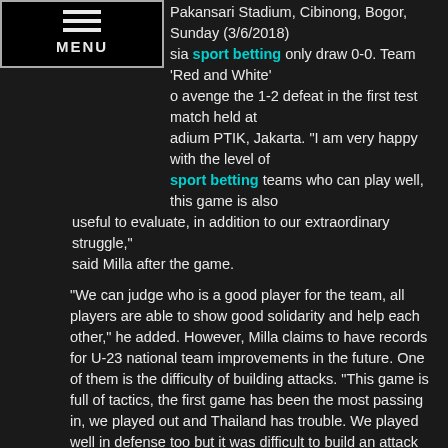Pakansari Stadium, Cibinong, Bogor, Sunday (3/6/2018)
...sia sport betting only draw 0-0. Team 'Red and White' to avenge the 1-2 defeat in the first test match held at ...adium PTIK, Jakarta. "I am very happy with the level of sport betting teams who can play well, this game is also useful to evaluate, in addition to our extraordinary struggle," said Milla after the game.
"We can judge who is a good player for the team, all players are able to show good solidarity and help each other," he added. However, Milla claims to have records for U-23 national team improvements in the future. One of them is the difficulty of building attacks. "This game is full of tactics, the first game has been the most passing in, we played out and Thailand has trouble. We played well in defense too but it was difficult to build an attack but the two team level is good today, "he added.
With this draw, Indonesia have not won in two online sport betting games against Thailand. In previous matches that took place at the stadium PTIK, Thursday (31/5), they lost 1-2. U-23 national online sport betting team will still undergo one test match again on 23 June. South Korea who will be his opponent. In the match at the Pakansari Stadium on Sunday (3/5/2018) night local time, Indonesia and Thailand played online sport betting out a goalless draw in the first half. Indonesia's best opportunity occurred in the 36th minute.